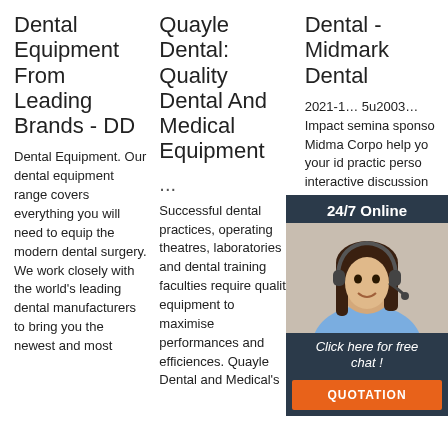Dental Equipment From Leading Brands - DD
Dental Equipment. Our dental equipment range covers everything you will need to equip the modern dental surgery. We work closely with the world's leading dental manufacturers to bring you the newest and most
Quayle Dental: Quality Dental And Medical Equipment
...
Successful dental practices, operating theatres, laboratories and dental training faculties require quality equipment to maximise performances and efficiences. Quayle Dental and Medical's
Dental - Midmark Dental
2021-1… 5u2003… Impact semina sponso Midma Corpo help yo your id practic perso interactive discussion about efficient, and effective dental specific design principles. Learn More
[Figure (infographic): Chat widget overlay with dark background showing '24/7 Online' header, female agent with headset photo, 'Click here for free chat!' text, and orange QUOTATION button]
[Figure (logo): Orange TOP badge/logo in bottom right corner]